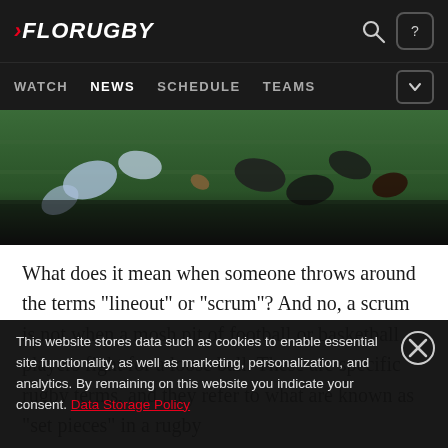FLORUGBY — WATCH | NEWS | SCHEDULE | TEAMS
[Figure (photo): Aerial view of rugby players on a grass field, players wearing light blue/white and black jerseys]
What does it mean when someone throws around the terms "lineout" or "scrum"? And no, a scrum is not when a mosh pit of football or basketball players fight for a loose ball. These are specific rugby terms, and they refer to what are known as "set pieces" in a rugby
This website stores data such as cookies to enable essential site functionality, as well as marketing, personalization, and analytics. By remaining on this website you indicate your consent. Data Storage Policy